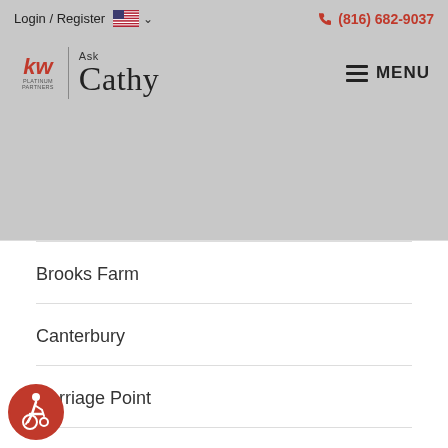Login / Register  (816) 682-9037
[Figure (logo): KW Platinum Partners | Ask Cathy logo with hamburger menu]
Brooks Farm
Canterbury
Carriage Point
Charleston Park
Cheddington
Craigmont
Dalton's Ridge
[Figure (illustration): Accessibility icon - red circle with wheelchair user symbol]